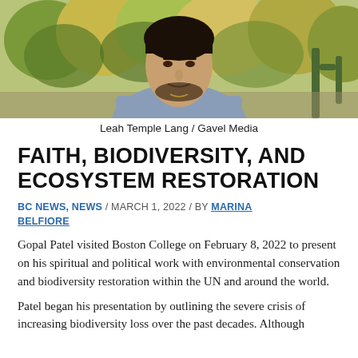[Figure (photo): Portrait photo of a man (Gopal Patel) outdoors with trees and desert vegetation in background]
Leah Temple Lang / Gavel Media
FAITH, BIODIVERSITY, AND ECOSYSTEM RESTORATION
BC NEWS, NEWS / MARCH 1, 2022 / BY MARINA BELFIORE
Gopal Patel visited Boston College on February 8, 2022 to present on his spiritual and political work with environmental conservation and biodiversity restoration within the UN and around the world.
Patel began his presentation by outlining the severe crisis of increasing biodiversity loss over the past decades. Although